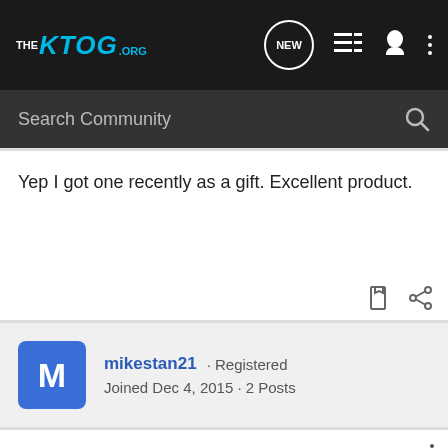THE KTOG.ORG — navigation bar with search
Yep I got one recently as a gift. Excellent product.
mikestan21 · Registered
Joined Dec 4, 2015 · 2 Posts
#6 · Mar 4, 2016
+1 maglula